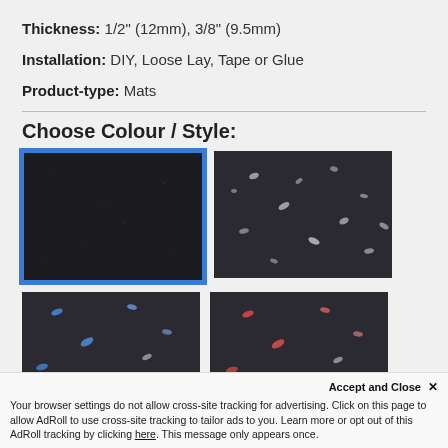Thickness: 1/2" (12mm), 3/8" (9.5mm)
Installation: DIY, Loose Lay, Tape or Glue
Product-type: Mats
Choose Colour / Style:
[Figure (photo): Four rubber mat texture swatches: top-left is solid black (selected, blue border), top-right is dark with white speckles, bottom-left is dark with blue speckles, bottom-right is dark with red speckles]
Accept and Close ✕
Your browser settings do not allow cross-site tracking for advertising. Click on this page to allow AdRoll to use cross-site tracking to tailor ads to you. Learn more or opt out of this AdRoll tracking by clicking here. This message only appears once.